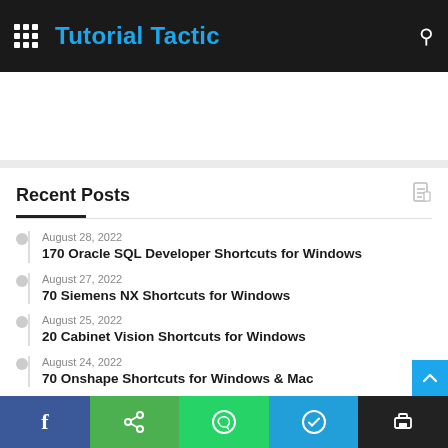Tutorial Tactic
Recent Posts
August 28, 2022
170 Oracle SQL Developer Shortcuts for Windows
August 27, 2022
70 Siemens NX Shortcuts for Windows
August 25, 2022
20 Cabinet Vision Shortcuts for Windows
August 24, 2022
70 Onshape Shortcuts for Windows & Mac